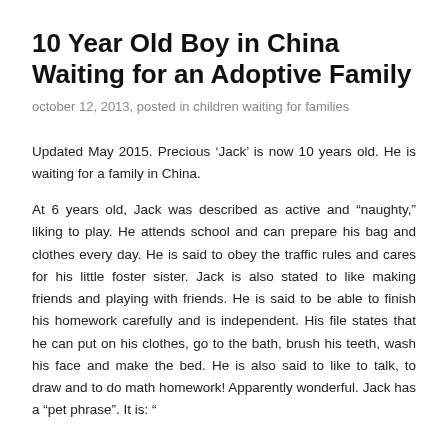10 Year Old Boy in China Waiting for an Adoptive Family
october 12, 2013, posted in children waiting for families
Updated May 2015. Precious ‘Jack’ is now 10 years old. He is waiting for a family in China.
At 6 years old, Jack was described as active and “naughty,” liking to play. He attends school and can prepare his bag and clothes every day. He is said to obey the traffic rules and cares for his little foster sister. Jack is also stated to like making friends and playing with friends. He is said to be able to finish his homework carefully and is independent. His file states that he can put on his clothes, go to the bath, brush his teeth, wash his face and make the bed. He is also said to like to talk, to draw and to do math homework! Apparently wonderful. Jack has a “pet phrase”. It is: “[